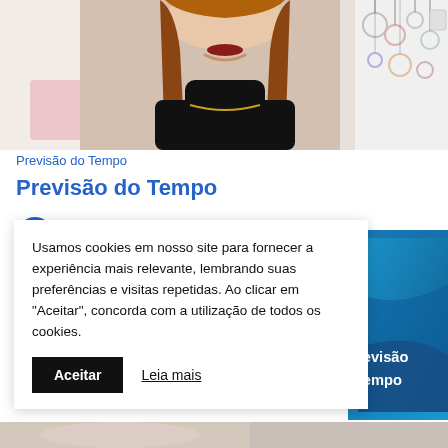[Figure (photo): Woman with long auburn hair wearing black turtleneck with necklace, smiling; jewelry display visible on the right side]
Previsão do Tempo
Previsão do Tempo
[Figure (screenshot): Cookie consent banner with text about cookies and Aceitar/Leia mais buttons, and a blue weather/Previsão do Tempo banner on the right]
[Figure (photo): Bottom strip showing partial image]